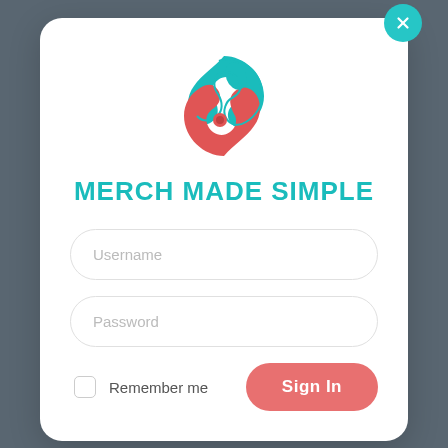[Figure (logo): Circular logo with red and teal interlocking S-shape bird/fish design on white background]
MERCH MADE SIMPLE
Username
Password
Remember me
Sign In